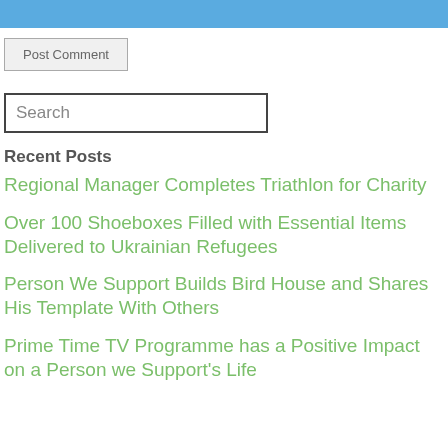Post Comment
Search
Recent Posts
Regional Manager Completes Triathlon for Charity
Over 100 Shoeboxes Filled with Essential Items Delivered to Ukrainian Refugees
Person We Support Builds Bird House and Shares His Template With Others
Prime Time TV Programme has a Positive Impact on a Person we Support's Life